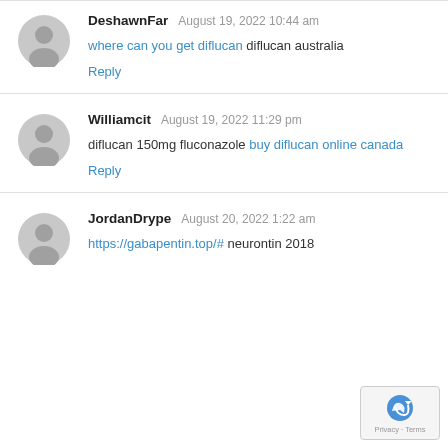DeshawnFar  August 19, 2022 10:44 am
where can you get diflucan diflucan australia
Reply
Williamcit  August 19, 2022 11:29 pm
diflucan 150mg fluconazole buy diflucan online canada
Reply
JordanDrype  August 20, 2022 1:22 am
https://gabapentin.top/# neurontin 2018